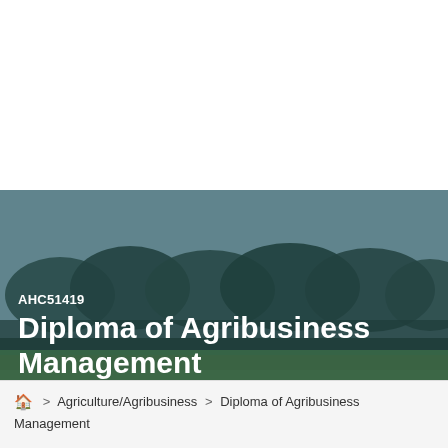[Figure (photo): Aerial/landscape photo of green farmland with trees in the background under a blue-grey sky, overlaid with a dark teal semi-transparent color wash. White text overlaid showing course code AHC51419 and title Diploma of Agribusiness Management.]
AHC51419
Diploma of Agribusiness Management
🏠 > Agriculture/Agribusiness > Diploma of Agribusiness Management